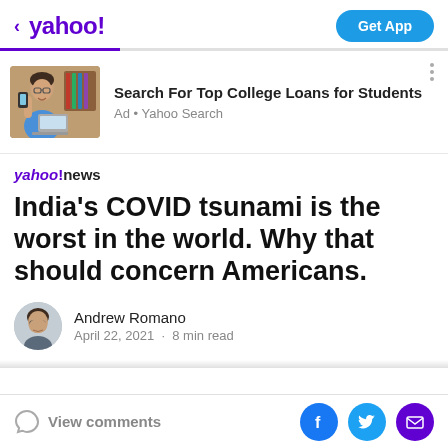< yahoo! | Get App
[Figure (infographic): Advertisement banner: photo of a woman on phone with laptop, with text 'Search For Top College Loans for Students' and 'Ad • Yahoo Search']
yahoo!news
India's COVID tsunami is the worst in the world. Why that should concern Americans.
Andrew Romano
April 22, 2021 · 8 min read
View comments | Facebook | Twitter | Mail